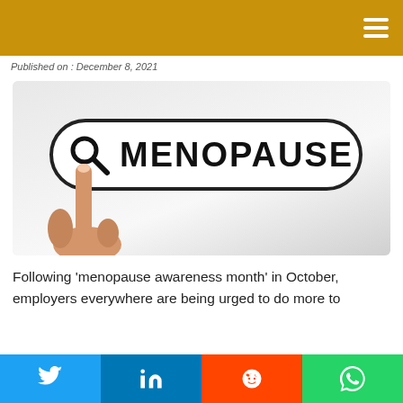Published on : December 8, 2021
[Figure (illustration): A hand with index finger pointing at a rounded search bar containing a magnifying glass icon and the word MENOPAUSE in large bold letters, on a light gray background.]
Following ‘menopause awareness month’ in October, employers everywhere are being urged to do more to
Twitter | LinkedIn | Reddit | WhatsApp